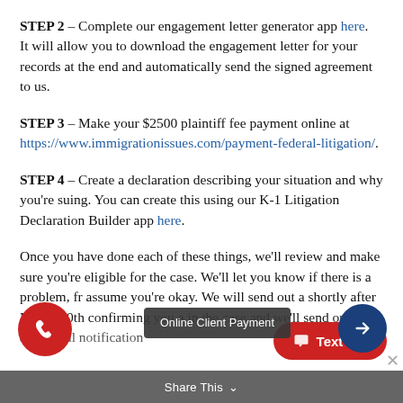STEP 2 – Complete our engagement letter generator app here. It will allow you to download the engagement letter for your records at the end and automatically send the signed agreement to us.
STEP 3 – Make your $2500 plaintiff fee payment online at https://www.immigrationissues.com/payment-federal-litigation/.
STEP 4 – Create a declaration describing your situation and why you're suing. You can create this using our K-1 Litigation Declaration Builder app here.
Once you have done each of these things, we'll review and make sure you're eligible for the case. We'll let you know if there is a problem, fr assume you're okay. We will send out a shortly after March 10th confirming you a in the case and we'll send out an additional notification